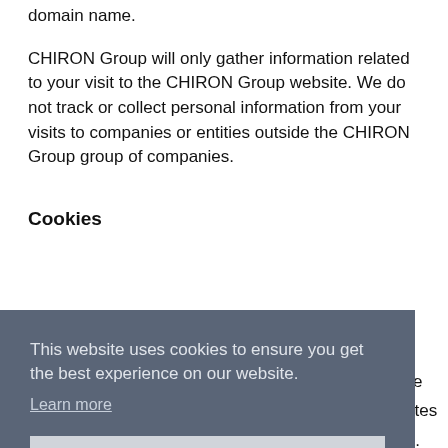domain name.
CHIRON Group will only gather information related to your visit to the CHIRON Group website. We do not track or collect personal information from your visits to companies or entities outside the CHIRON Group group of companies.
Cookies
This website uses cookies to ensure you get the best experience on our website. Learn more  Got it!
malware. The information stored in the cookie